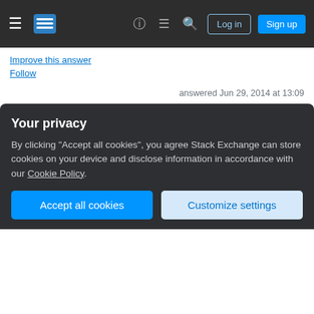Stack Exchange navigation bar with hamburger menu, logo, help, chat, search, Log in, Sign up buttons
Improve this answer
Follow
answered Jun 29, 2014 at 13:09
ChrisW 2,692 ◆ 11 ● 18
Add a comment
"Hire your own boss" is an uncomfortable job function, but one that needs to be done from time to time.
Your privacy
By clicking "Accept all cookies", you agree Stack Exchange can store cookies on your device and disclose information in accordance with our Cookie Policy.
Accept all cookies
Customize settings
world, but is necessary, if junior people are to